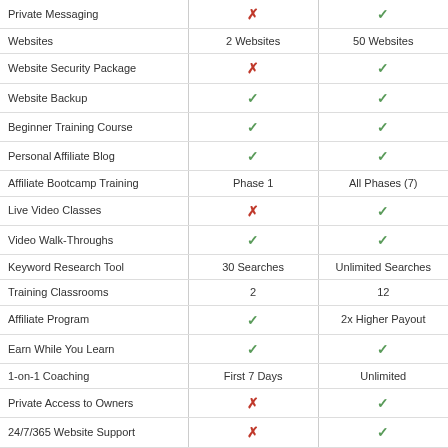| Feature | Starter | Premium |
| --- | --- | --- |
| Private Messaging | ✗ | ✓ |
| Websites | 2 Websites | 50 Websites |
| Website Security Package | ✗ | ✓ |
| Website Backup | ✓ | ✓ |
| Beginner Training Course | ✓ | ✓ |
| Personal Affiliate Blog | ✓ | ✓ |
| Affiliate Bootcamp Training | Phase 1 | All Phases (7) |
| Live Video Classes | ✗ | ✓ |
| Video Walk-Throughs | ✓ | ✓ |
| Keyword Research Tool | 30 Searches | Unlimited Searches |
| Training Classrooms | 2 | 12 |
| Affiliate Program | ✓ | 2x Higher Payout |
| Earn While You Learn | ✓ | ✓ |
| 1-on-1 Coaching | First 7 Days | Unlimited |
| Private Access to Owners | ✗ | ✓ |
| 24/7/365 Website Support | ✗ | ✓ |
| Website Feedback Platform | ✗ | ✓ |
| Website Comment Platform | ✗ | ✓ |
| Website Analysis | ✗ | ✓ |